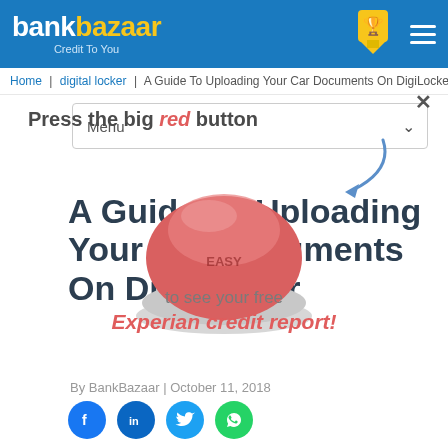bankbazaar Credit To You
Home | digital locker | A Guide To Uploading Your Car Documents On DigiLocker
[Figure (illustration): Big red button with arrow and overlay ad text: Press the big red button to see your free Experian credit report!]
A Guide To Uploading Your Car Documents On DigiLocker
By BankBazaar | October 11, 2018
[Figure (infographic): Social share icons: Facebook, LinkedIn, Twitter, WhatsApp]
If you've signed up for DigiLocker, here's a step-by-step guide on how to upload your car documents on